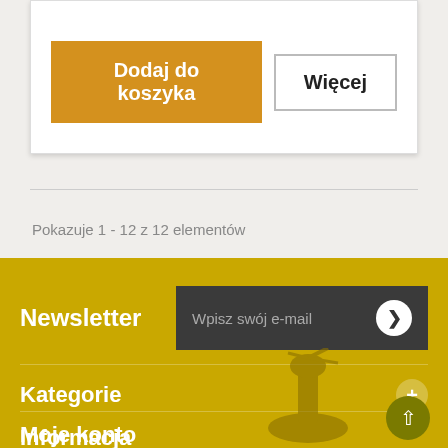Dodaj do koszyka
Więcej
Pokazuje 1 - 12 z 12 elementów
Newsletter
Wpisz swój e-mail
Kategorie
Informacja
Moje konto